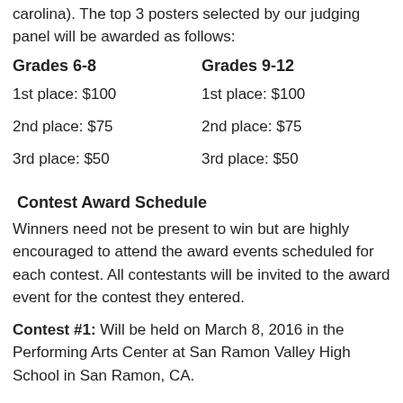carolina). The top 3 posters selected by our judging panel will be awarded as follows:
Grades 6-8
Grades 9-12
1st place: $100
2nd place: $75
3rd place: $50
1st place: $100
2nd place: $75
3rd place:  $50
Contest Award Schedule
Winners need not be present to win but are highly encouraged to attend the award events scheduled for each contest.  All contestants will be invited to the award event for the contest they entered.
Contest #1:  Will be held on March 8, 2016 in the Performing Arts Center at San Ramon Valley High School in San Ramon, CA.